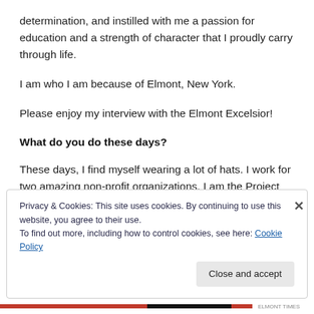determination, and instilled with me a passion for education and a strength of character that I proudly carry through life.
I am who I am because of Elmont, New York.
Please enjoy my interview with the Elmont Excelsior!
What do you do these days?
These days, I find myself wearing a lot of hats. I work for two amazing non-profit organizations. I am the Project
Privacy & Cookies: This site uses cookies. By continuing to use this website, you agree to their use.
To find out more, including how to control cookies, see here: Cookie Policy